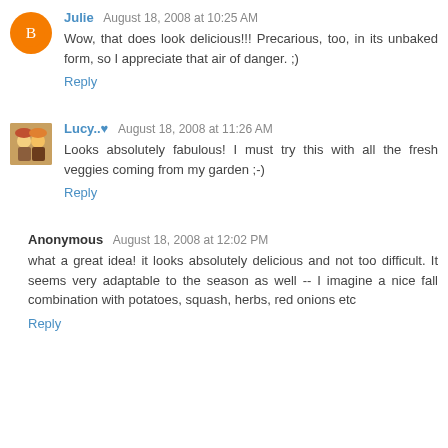Julie August 18, 2008 at 10:25 AM
Wow, that does look delicious!!! Precarious, too, in its unbaked form, so I appreciate that air of danger. ;)
Reply
Lucy..♥ August 18, 2008 at 11:26 AM
Looks absolutely fabulous! I must try this with all the fresh veggies coming from my garden ;-)
Reply
Anonymous August 18, 2008 at 12:02 PM
what a great idea! it looks absolutely delicious and not too difficult. It seems very adaptable to the season as well -- I imagine a nice fall combination with potatoes, squash, herbs, red onions etc
Reply